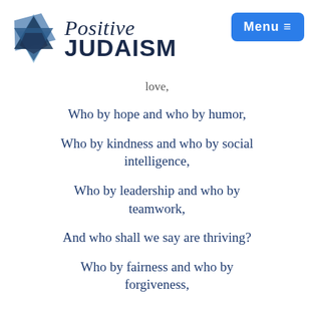[Figure (logo): Positive Judaism logo with Star of David made of overlapping blue geometric shapes and the text 'Positive JUDAISM' in dark navy, plus a blue Menu button with hamburger icon]
love,
Who by hope and who by humor,
Who by kindness and who by social intelligence,
Who by leadership and who by teamwork,
And who shall we say are thriving?
Who by fairness and who by forgiveness,